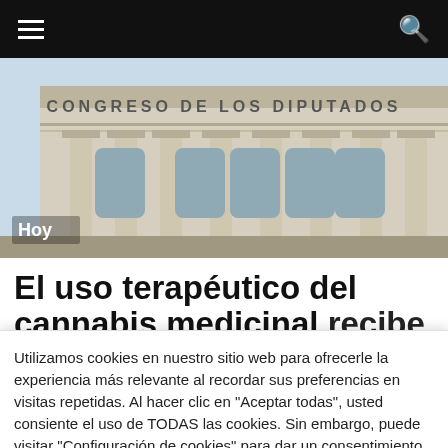Navigation bar with hamburger menu and search icon
[Figure (photo): Photograph of the Congreso de los Diputados building facade with columns and the text 'CONGRESO DE LOS DIPUTADOS' visible. Label 'Hoy' overlaid at bottom left.]
El uso terapéutico del cannabis medicinal recibe el sí del Congreso
Utilizamos cookies en nuestro sitio web para ofrecerle la experiencia más relevante al recordar sus preferencias en visitas repetidas. Al hacer clic en "Aceptar todas", usted consiente el uso de TODAS las cookies. Sin embargo, puede visitar "Configuración de cookies" para dar un consentimiento más controlado.
Configuración de cookies
Aceptar todas
Cambiar Idioma »